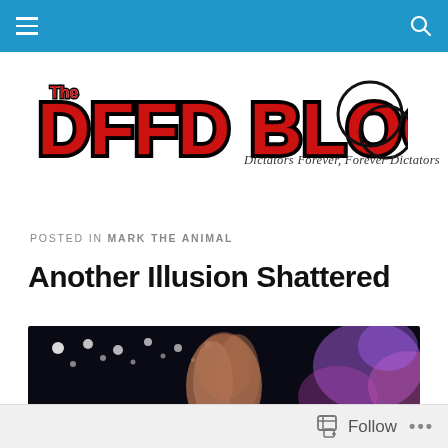Navigation bar with menu and search icons
[Figure (logo): The DFFD Blog logo — large red bold lettering 'The DFFD BLOG' with black outline, with a circular infinity-like symbol to the right]
Dictators Forever, Forever Dictators
POSTED IN MARK THE ANIMAL
Another Illusion Shattered
[Figure (photo): Concert or performance photo showing a performer with long hair on stage surrounded by bright stage lights and purple/pink bokeh lighting effects on a dark background]
Follow ...